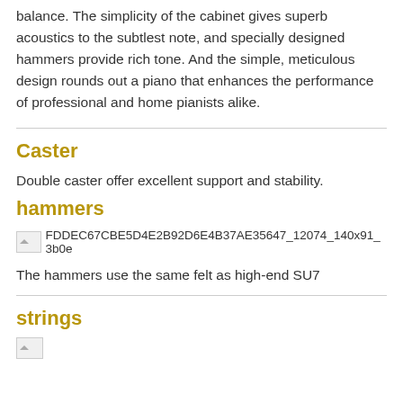balance. The simplicity of the cabinet gives superb acoustics to the subtlest note, and specially designed hammers provide rich tone. And the simple, meticulous design rounds out a piano that enhances the performance of professional and home pianists alike.
Caster
Double caster offer excellent support and stability.
hammers
[Figure (photo): Small broken image placeholder icon followed by filename: FDDEC67CBE5D4E2B92D6E4B37AE35647_12074_140x91_3b0e]
The hammers use the same felt as high-end SU7
strings
[Figure (photo): Small broken image placeholder icon at bottom of page]